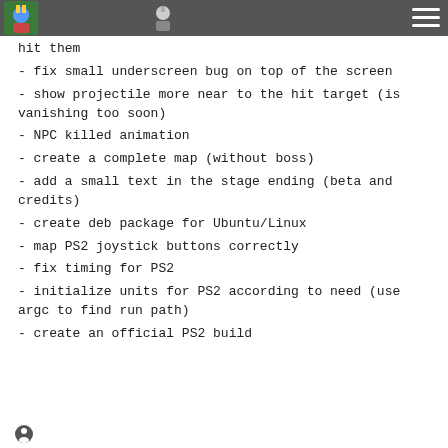[navigation bar with icons and hamburger menu]
hit them
- fix small underscreen bug on top of the screen
- show projectile more near to the hit target (is vanishing too soon)
- NPC killed animation
- create a complete map (without boss)
- add a small text in the stage ending (beta and credits)
- create deb package for Ubuntu/Linux
- map PS2 joystick buttons correctly
- fix timing for PS2
- initialize units for PS2 according to need (use argc to find run path)
- create an official PS2 build